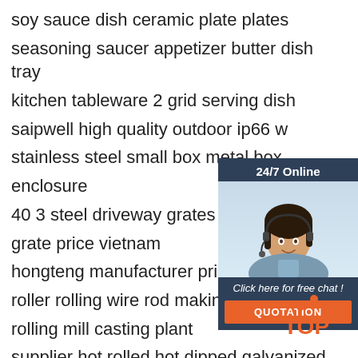soy sauce dish ceramic plate plates
seasoning saucer appetizer butter dish tray
kitchen tableware 2 grid serving dish
saipwell high quality outdoor ip66 w
stainless steel small box metal box enclosure
40 3 steel driveway grates welded s grate price vietnam
hongteng manufacturer price steel i
roller rolling wire rod making machine hot rolling mill casting plant
supplier hot rolled hot dipped galvanized
stainless waterproof steel coil sheet plate
[Figure (infographic): 24/7 Online chat widget with customer service representative photo and 'Click here for free chat!' text and orange QUOTATION button]
[Figure (logo): TOP logo with orange dots and letters]